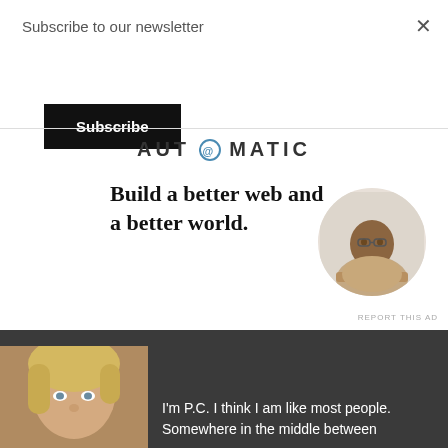Subscribe to our newsletter
Subscribe
[Figure (logo): AUTOMATTIC logo with circular @ symbol replacing the O]
Build a better web and a better world.
Apply
[Figure (photo): Circular cropped photo of a bearded man looking upward thoughtfully, resting his chin on his hand]
REPORT THIS AD
[Figure (photo): Close-up photo of a blonde woman's face]
I'm P.C. I think I am like most people. Somewhere in the middle between